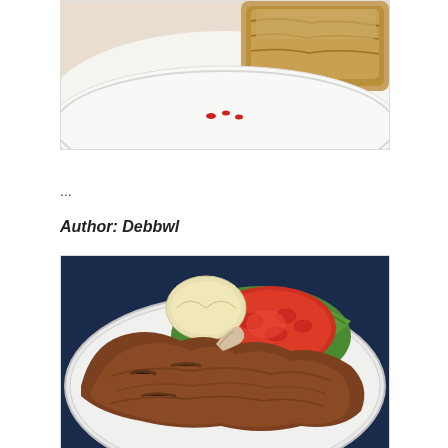[Figure (photo): Close-up photo of a baked dessert bar on a white plate with red sauce dots]
Mud Hen Bars
...
Author: Debbwl
[Figure (photo): Photo of a grilled T-bone steak on a plate with tomato slices, lettuce, and a lemon wedge]